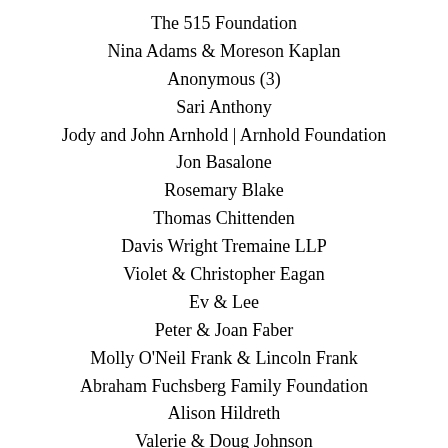The 515 Foundation
Nina Adams & Moreson Kaplan
Anonymous (3)
Sari Anthony
Jody and John Arnhold | Arnhold Foundation
Jon Basalone
Rosemary Blake
Thomas Chittenden
Davis Wright Tremaine LLP
Violet & Christopher Eagan
Ev & Lee
Peter & Joan Faber
Molly O'Neil Frank & Lincoln Frank
Abraham Fuchsberg Family Foundation
Alison Hildreth
Valerie & Doug Johnson
Robin A. Jones
Roselle & Brian Kaltner